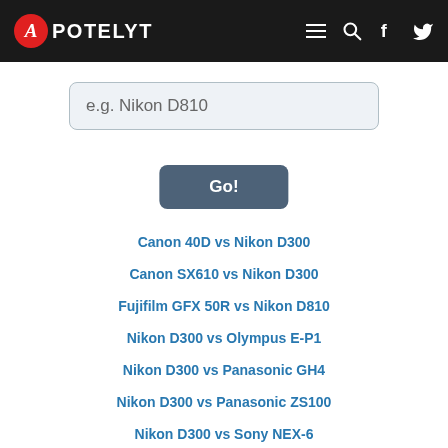APOTELYT
[Figure (screenshot): Search input box with placeholder text 'e.g. Nikon D810']
Go!
Canon 40D vs Nikon D300
Canon SX610 vs Nikon D300
Fujifilm GFX 50R vs Nikon D810
Nikon D300 vs Olympus E-P1
Nikon D300 vs Panasonic GH4
Nikon D300 vs Panasonic ZS100
Nikon D300 vs Sony NEX-6